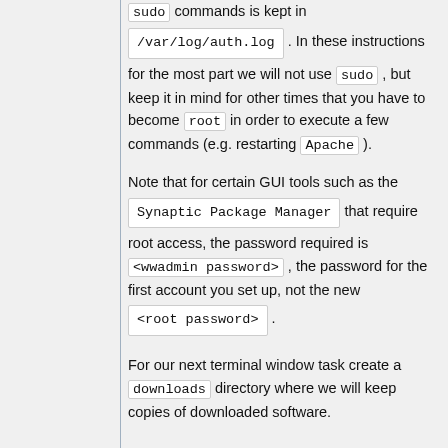sudo commands is kept in /var/log/auth.log . In these instructions for the most part we will not use sudo , but keep it in mind for other times that you have to become root in order to execute a few commands (e.g. restarting Apache ).
Note that for certain GUI tools such as the Synaptic Package Manager that require root access, the password required is <wwadmin password> , the password for the first account you set up, not the new <root password> .
For our next terminal window task create a downloads directory where we will keep copies of downloaded software.